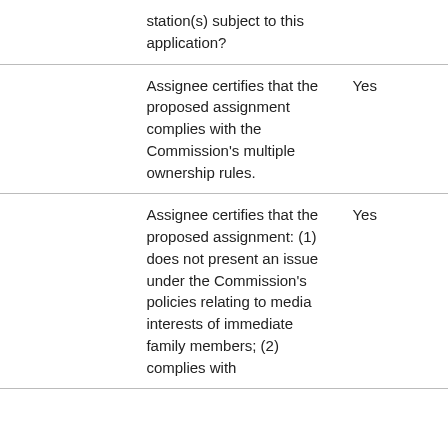|  |  |  |
| --- | --- | --- |
|  | station(s) subject to this application? |  |
|  | Assignee certifies that the proposed assignment complies with the Commission's multiple ownership rules. | Yes |
|  | Assignee certifies that the proposed assignment: (1) does not present an issue under the Commission's policies relating to media interests of immediate family members; (2) complies with | Yes |